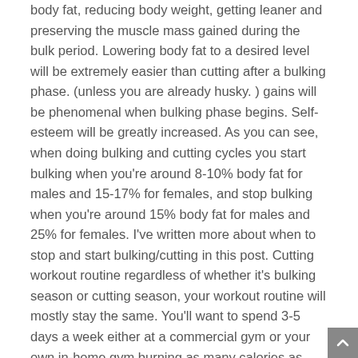body fat, reducing body weight, getting leaner and preserving the muscle mass gained during the bulk period. Lowering body fat to a desired level will be extremely easier than cutting after a bulking phase. (unless you are already husky. ) gains will be phenomenal when bulking phase begins. Self-esteem will be greatly increased. As you can see, when doing bulking and cutting cycles you start bulking when you're around 8-10% body fat for males and 15-17% for females, and stop bulking when you're around 15% body fat for males and 25% for females. I've written more about when to stop and start bulking/cutting in this post. Cutting workout routine regardless of whether it's bulking season or cutting season, your workout routine will mostly stay the same. You'll want to spend 3-5 days a week either at a commercial gym or your own in-home gym burning as many calories as possible and exhausting your muscles so they can grow stronger. Cutting is a lot harder to do than bulking due to its intense nature that can push the body to dangerous extremes. The purpose of going through a cutting and is losing weight and acquiring muscle...